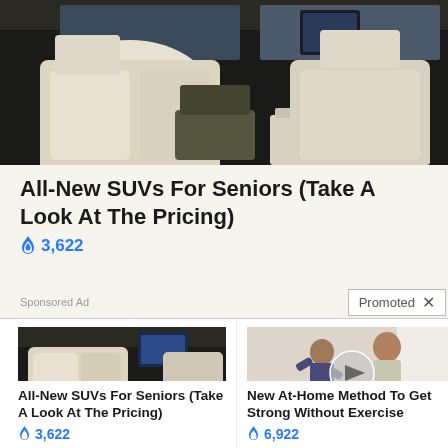[Figure (photo): Luxury car interior with white leather seats, fold-out table, and tablet mount in the rear passenger area]
All-New SUVs For Seniors (Take A Look At The Pricing)
🔥 3,622
Sponsored Ad
Promoted ×
[Figure (photo): Luxury car interior with white leather seats and fold-out table]
All-New SUVs For Seniors (Take A Look At The Pricing)
🔥 3,622
[Figure (photo): Two people exercising indoors with a play button overlay on the image]
New At-Home Method To Get Strong Without Exercise
🔥 6,922